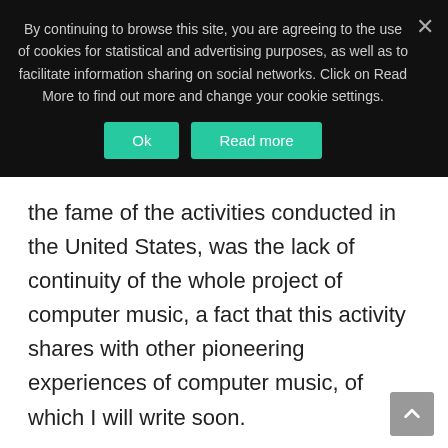By continuing to browse this site, you are agreeing to the use of cookies for statistical and advertising purposes, as well as to facilitate information sharing on social networks. Click on Read More to find out more and change your cookie settings.
the fame of the activities conducted in the United States, was the lack of continuity of the whole project of computer music, a fact that this activity shares with other pioneering experiences of computer music, of which I will write soon.
I conclude signaling that  to integration of the literary part, the volume also contains a CD consists of two parts: the first musical, containing all tracks compounds with CSIRAC both during the years of